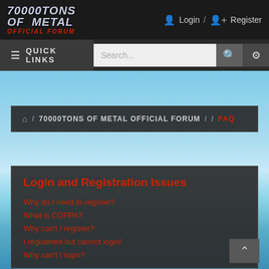70000TONS OF METAL OFFICIAL FORUM
Login / Register
≡ QUICK LINKS
Search...
⌂ / 70000TONS OF METAL OFFICIAL FORUM / / FAQ
Login and Registration Issues
Why do I need to register?
What is COPPA?
Why can't I register?
I registered but cannot login!
Why can't I login?